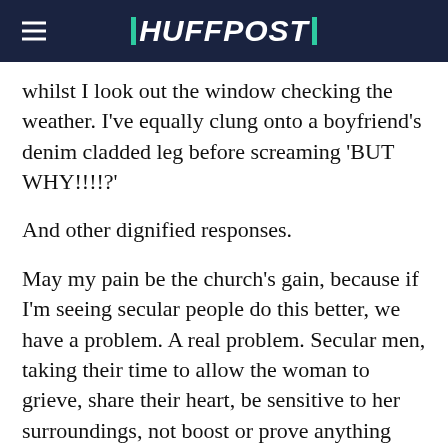HUFFPOST
whilst I look out the window checking the weather. I've equally clung onto a boyfriend's denim cladded leg before screaming 'BUT WHY!!!!?'
And other dignified responses.
May my pain be the church's gain, because if I'm seeing secular people do this better, we have a problem. A real problem. Secular men, taking their time to allow the woman to grieve, share their heart, be sensitive to her surroundings, not boost or prove anything through shame-drenched 'I am enough, I am competent' social media posts. Kindness is kingdom, and yet how come I see it occur more in the secular